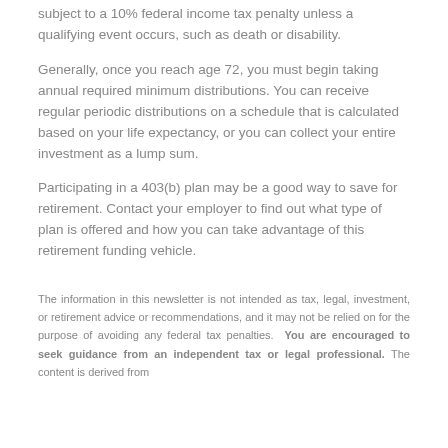subject to a 10% federal income tax penalty unless a qualifying event occurs, such as death or disability.
Generally, once you reach age 72, you must begin taking annual required minimum distributions. You can receive regular periodic distributions on a schedule that is calculated based on your life expectancy, or you can collect your entire investment as a lump sum.
Participating in a 403(b) plan may be a good way to save for retirement. Contact your employer to find out what type of plan is offered and how you can take advantage of this retirement funding vehicle.
The information in this newsletter is not intended as tax, legal, investment, or retirement advice or recommendations, and it may not be relied on for the purpose of avoiding any federal tax penalties. You are encouraged to seek guidance from an independent tax or legal professional. The content is derived from